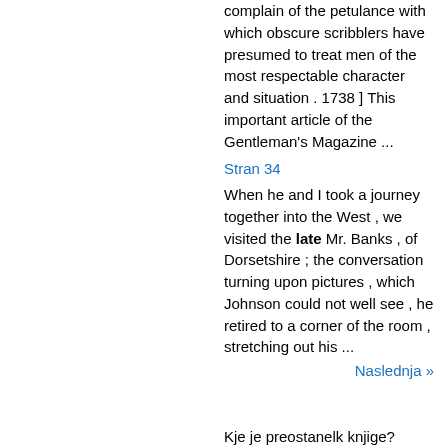complain of the petulance with which obscure scribblers have presumed to treat men of the most respectable character and situation . 1738 ] This important article of the Gentleman's Magazine ...
Stran 34
When he and I took a journey together into the West , we visited the late Mr. Banks , of Dorsetshire ; the conversation turning upon pictures , which Johnson could not well see , he retired to a corner of the room , stretching out his ...
Naslednja »
Kje je preostanelk knjige?